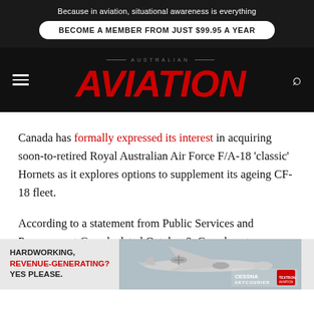Because in aviation, situational awareness is everything
BECOME A MEMBER FROM JUST $99.95 A YEAR
AUSTRALIAN AVIATION
Canada has formally expressed its interest in acquiring soon-to-retired Royal Australian Air Force F/A-18 'classic' Hornets as it explores options to supplement its ageing CF-18 fleet.
According to a statement from Public Services and Procurement Canada dated October 9, Canada entered... agreement in late August to assess the potential purchase of
[Figure (infographic): Advertisement banner for Cessna SkyCourier with text HARDWORKING, REVENUE-GENERATING? YES PLEASE. and an image of the aircraft with Cessna SkyCourier and Textron Aviation logos.]